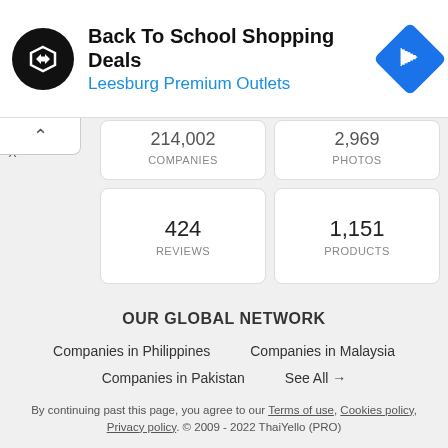[Figure (infographic): Ad banner: Back To School Shopping Deals at Leesburg Premium Outlets with logo and navigation icon]
214,002 COMPANIES
2,969 PHOTOS
424 REVIEWS
1,151 PRODUCTS
OUR GLOBAL NETWORK
Companies in Philippines
Companies in Malaysia
Companies in Pakistan
See All →
By continuing past this page, you agree to our Terms of use, Cookies policy, Privacy policy. © 2009 - 2022 ThaiYello (PRO)